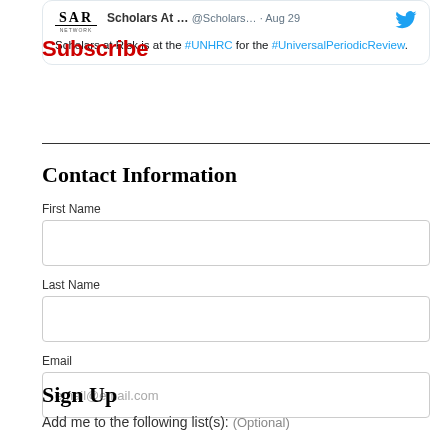[Figure (screenshot): Tweet card from Scholars At Risk (@Scholars...) dated Aug 29, with SAR logo, Twitter bird icon, and text: 'Scholars at Risk is at the #UNHRC for the #UniversalPeriodicReview.']
Subscribe
Contact Information
First Name
Last Name
Email
Sign Up
Add me to the following list(s): (Optional)